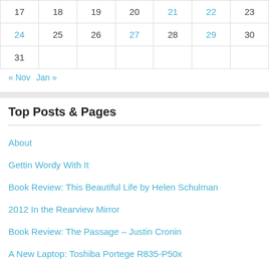| 17 | 18 | 19 | 20 | 21 | 22 | 23 |
| 24 | 25 | 26 | 27 | 28 | 29 | 30 |
| 31 |  |  |  |  |  |  |
« Nov   Jan »
Top Posts & Pages
About
Gettin Wordy With It
Book Review: This Beautiful Life by Helen Schulman
2012 In the Rearview Mirror
Book Review: The Passage – Justin Cronin
A New Laptop: Toshiba Portege R835-P50x
Christmas in April